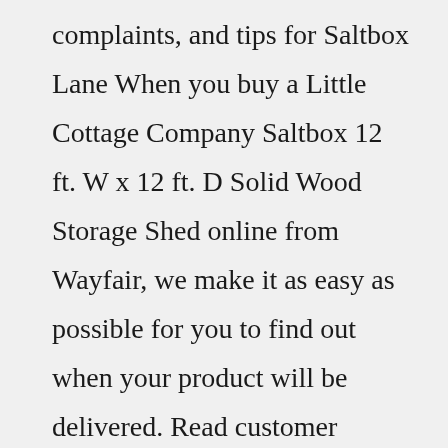complaints, and tips for Saltbox Lane When you buy a Little Cottage Company Saltbox 12 ft. W x 12 ft. D Solid Wood Storage Shed online from Wayfair, we make it as easy as possible for you to find out when your product will be delivered. Read customer reviews and common Questions and Answers for Little Cottage Company Part #: 12x12 CWSB-WPNK on this page. If you have any questions about your purchase or any other product for sale